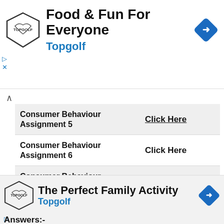[Figure (infographic): Topgolf advertisement banner: logo shield with eagle, text 'Food & Fun For Everyone', brand name 'Topgolf' in blue, blue diamond navigation icon, play and close ad controls]
| Assignment | Link |
| --- | --- |
| Consumer Behaviour Assignment 5 | Click Here |
| Consumer Behaviour Assignment 6 | Click Here |
| Consumer Behaviour Assignment 7 | Click Here |
| Consumer Behaviour Assignment 8 | Click Here |
[Figure (infographic): Topgolf advertisement banner: logo shield with eagle, text 'The Perfect Family Activity', brand name 'Topgolf' in blue, blue diamond navigation icon, play and close ad controls]
Answers:-